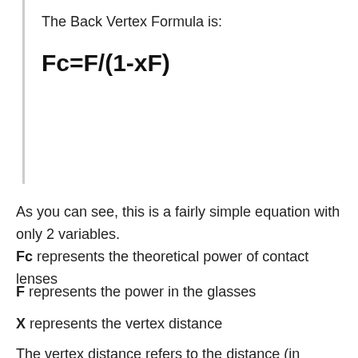The Back Vertex Formula is:
As you can see, this is a fairly simple equation with only 2 variables.
Fc represents the theoretical power of contact lenses
F represents the power in the glasses
X represents the vertex distance
The vertex distance refers to the distance (in meters) between your eye and the back of your lenses on a correctly fitting pair of glasses. Generally, this distance is the standard testing distance (12-14mm) that optometrists use when